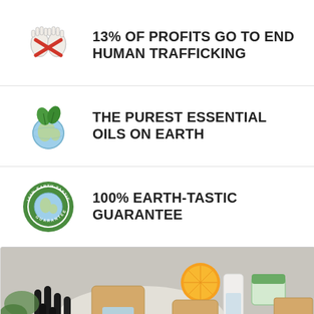[Figure (illustration): Icon of two bound hands with a red ribbon crossed over them, symbolizing human trafficking awareness]
13% OF PROFITS GO TO END HUMAN TRAFFICKING
[Figure (illustration): Icon of the Earth globe with green leaves on top, symbolizing environmental purity]
THE PUREST ESSENTIAL OILS ON EARTH
[Figure (illustration): Circular badge/seal in green reading '100% EARTH-TASTIC GUARANTEE' with an Earth globe in the center]
100% EARTH-TASTIC GUARANTEE
[Figure (photo): Overhead photo of Simply Earth essential oil products including dark glass roller bottles, kraft paper pouches, a white bottle, green-labeled jar, and a Simply Earth box on a gray surface with an orange slice and greenery]